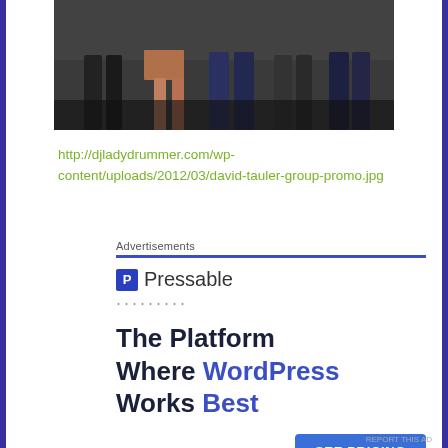[Figure (photo): Partial photo showing legs/lower bodies of a group of people standing together, dark background]
http://djladydrummer.com/wp-content/uploads/2012/03/david-tauler-group-promo.jpg
Advertisements
[Figure (logo): Pressable logo: blue square with P icon followed by text 'Pressable']
·········
The Platform Where WordPress Works Best
SEE PRICING
REPORT THIS AD